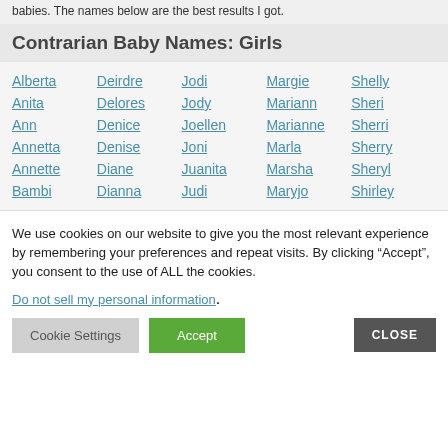babies. The names below are the best results I got.
Contrarian Baby Names: Girls
Alberta
Deirdre
Jodi
Margie
Shelly
Anita
Delores
Jody
Mariann
Sheri
Ann
Denice
Joellen
Marianne
Sherri
Annetta
Denise
Joni
Marla
Sherry
Annette
Diane
Juanita
Marsha
Sheryl
Bambi
Dianna
Judi
Maryjo
Shirley
We use cookies on our website to give you the most relevant experience by remembering your preferences and repeat visits. By clicking “Accept”, you consent to the use of ALL the cookies.
Do not sell my personal information.